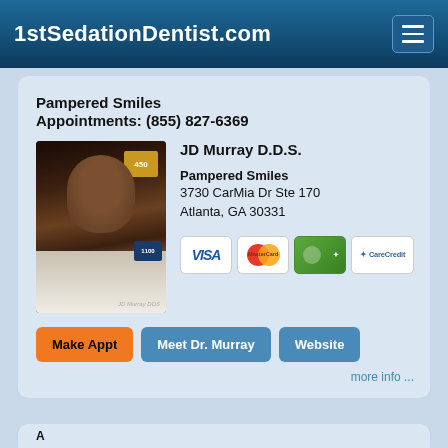1stSedationDentist.com
Pampered Smiles
Appointments: (855) 827-6369
[Figure (photo): Portrait photo of JD Murray D.D.S. in white coat]
JD Murray D.D.S.
Pampered Smiles
3730 CarMia Dr Ste 170
Atlanta, GA 30331
[Figure (other): Payment method icons: VISA, MasterCard, American Express, CareCredit]
Make Appt   Meet Dr. Murray   Website
more info ...